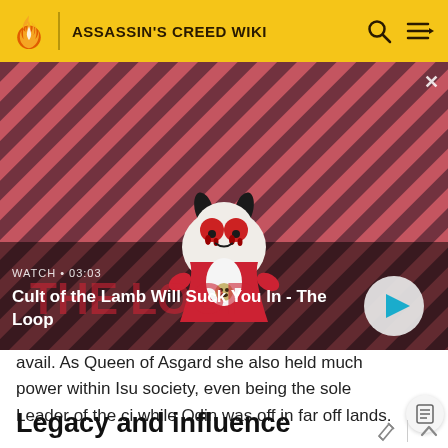ASSASSIN'S CREED WIKI
[Figure (screenshot): Video thumbnail showing Cult of the Lamb character on a red and dark diagonal striped background. Overlay shows WATCH • 03:03 and title 'Cult of the Lamb Will Suck You In - The Loop' with a play button.]
avail. As Queen of Asgard she also held much power within Isu society, even being the sole Leader of the ci while Odin was off in far off lands.
Legacy and influence